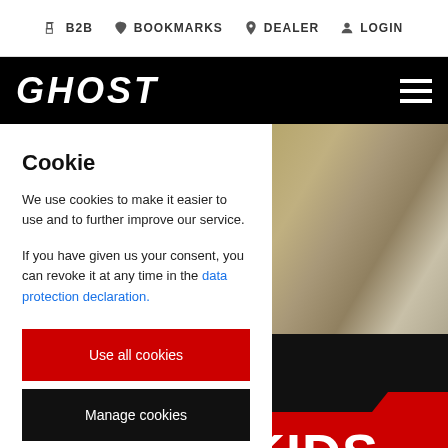B2B  BOOKMARKS  DEALER  LOGIN
[Figure (screenshot): GHOST brand website header with black navigation bar showing GHOST logo in italic white bold text and hamburger menu icon on the right]
[Figure (photo): Background photo of gravel/dirt ground with green plants, partially obscured by cookie consent modal]
Cookie
We use cookies to make it easier to use and to further improve our service.
If you have given us your consent, you can revoke it at any time in the data protection declaration.
Use all cookies
Manage cookies
Reject cookies
H KIDS
e